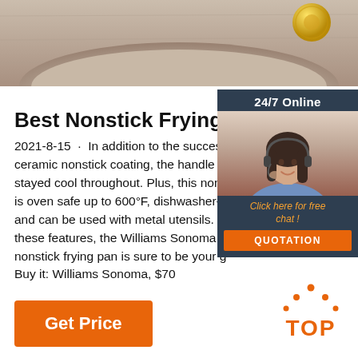[Figure (photo): Top portion of a frying pan on a wood surface background, with a gold circular element in the top right corner]
Best Nonstick Frying Pans for
[Figure (infographic): 24/7 Online widget with a female agent wearing headset, 'Click here for free chat!' text in orange italic, and an orange QUOTATION button]
2021-8-15 · In addition to the success ceramic nonstick coating, the handle d stayed cool throughout. Plus, this non is oven safe up to 600°F, dishwasher- and can be used with metal utensils. W these features, the Williams Sonoma nonstick frying pan is sure to be your g Buy it: Williams Sonoma, $70
[Figure (logo): TOP logo with orange dots forming an upward arrow/crown above the letters TOP in orange]
Get Price